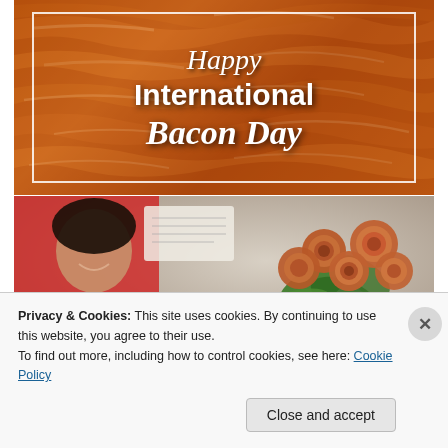[Figure (illustration): Happy International Bacon Day graphic: text overlaid on a background of cooked bacon strips, with a white rectangular frame border. Text reads 'Happy International Bacon Day' in white.]
[Figure (photo): Photo of a woman smiling on the left, holding a bouquet of bacon roses with green leaves on the right side of the image.]
Privacy & Cookies: This site uses cookies. By continuing to use this website, you agree to their use.
To find out more, including how to control cookies, see here: Cookie Policy
Close and accept